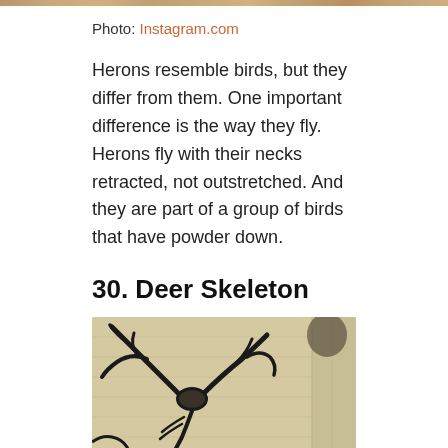[Figure (photo): Narrow strip of a photo visible at the very top of the page, partially cropped]
Photo: Instagram.com
Herons resemble birds, but they differ from them. One important difference is the way they fly. Herons fly with their necks retracted, not outstretched. And they are part of a group of birds that have powder down.
30. Deer Skeleton
[Figure (photo): A large street art mural on a concrete wall depicting a deer skeleton with prominent antlers, painted in black on a beige/yellowish background.]